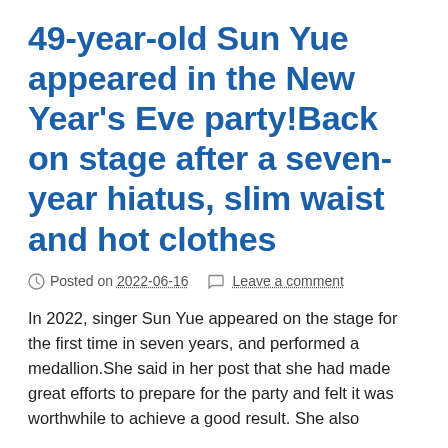49-year-old Sun Yue appeared in the New Year's Eve party!Back on stage after a seven-year hiatus, slim waist and hot clothes
Posted on 2022-06-16   Leave a comment
In 2022, singer Sun Yue appeared on the stage for the first time in seven years, and performed a medallion.She said in her post that she had made great efforts to prepare for the party and felt it was worthwhile to achieve a good result. She also